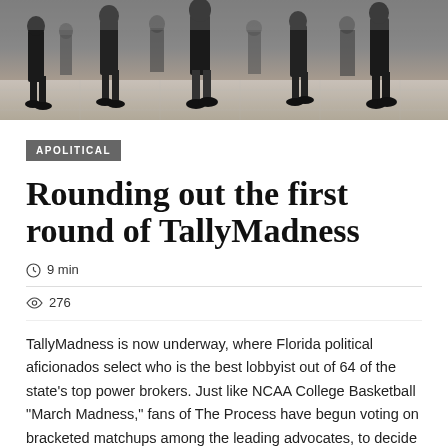[Figure (photo): Crowd of people walking in a large hall or building lobby, shot from a low angle showing legs and feet on a shiny floor]
APOLITICAL
Rounding out the first round of TallyMadness
9 min
276
TallyMadness is now underway, where Florida political aficionados select who is the best lobbyist out of 64 of the state's top power brokers. Just like NCAA College Basketball "March Madness," fans of The Process have begun voting on bracketed matchups among the leading advocates, to decide the top influencer in the Sunshine State. And right [...]